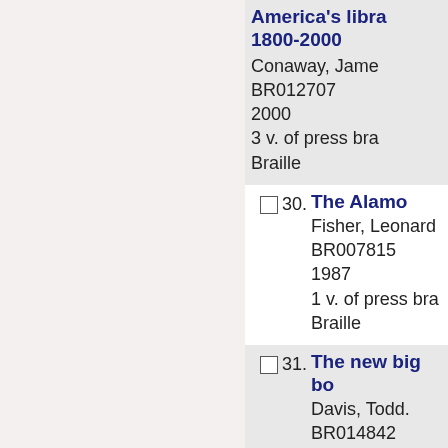America's libra 1800-2000 | Conaway, Jame | BR012707 | 2000 | 3 v. of press bra | Braille
30. The Alamo | Fisher, Leonard | BR007815 | 1987 | 1 v. of press bra | Braille
31. The new big bo | Davis, Todd. | BR014842 | 2000 | 1 v. of press bra | Braille
32. Al th...